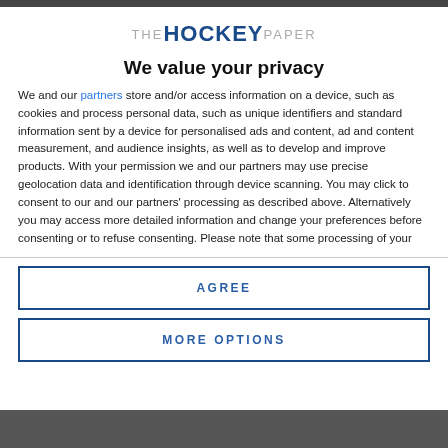[Figure (logo): The Hockey Paper logo with 'THE' in gray, 'HOCKEY' in bold dark blue, 'PAPER' in gray]
We value your privacy
We and our partners store and/or access information on a device, such as cookies and process personal data, such as unique identifiers and standard information sent by a device for personalised ads and content, ad and content measurement, and audience insights, as well as to develop and improve products. With your permission we and our partners may use precise geolocation data and identification through device scanning. You may click to consent to our and our partners' processing as described above. Alternatively you may access more detailed information and change your preferences before consenting or to refuse consenting. Please note that some processing of your
AGREE
MORE OPTIONS